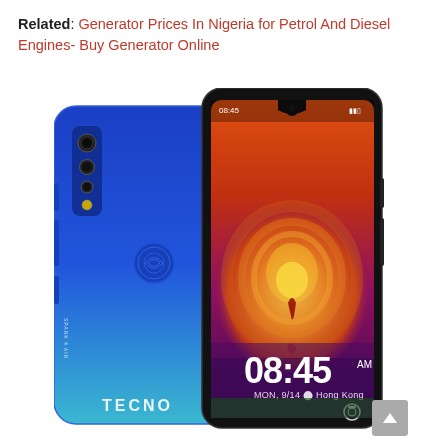Related: Generator Prices In Nigeria for Petrol And Diesel Engines- Buy Generator Online
[Figure (photo): Tecno smartphone shown from two angles: back view (blue gradient, quad camera, fingerprint sensor) and front view (teardrop notch, colorful wallpaper showing a peacock/bird silhouette at sunset, lock screen showing time 08:45 AM MON, 9/14, Hong Kong)]